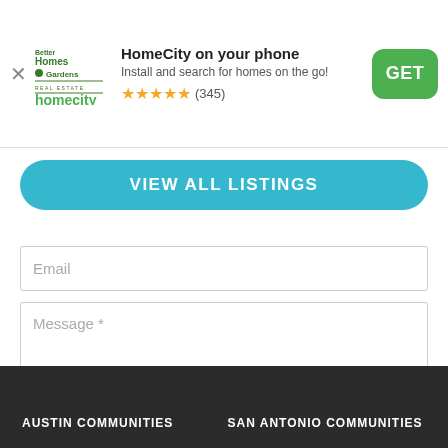[Figure (screenshot): App install banner for HomeCity / Better Homes and Gardens Real Estate app with X close button, logo, title 'HomeCity on your phone', subtitle 'Install and search for homes on the go!', 5-star rating (345), and GET button]
VIEW ALL LISTINGS
Email
Message *
SEND MESSAGE
AUSTIN COMMUNITIES   SAN ANTONIO COMMUNITIES